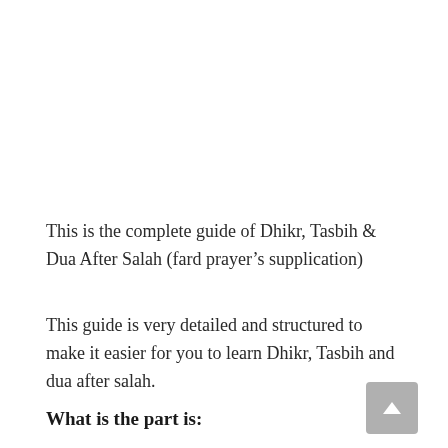This is the complete guide of Dhikr, Tasbih & Dua After Salah (fard prayer's supplication)
This guide is very detailed and structured to make it easier for you to learn Dhikr, Tasbih and dua after salah.
What is the part is: